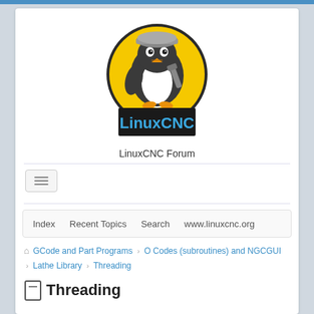[Figure (logo): LinuxCNC logo: a penguin wearing a hard hat holding a wrench, on a yellow and black circular background, with 'LinuxCNC' text in blue on a black banner below]
LinuxCNC Forum
[Figure (infographic): Hamburger menu toggle button with three horizontal lines]
Index   Recent Topics   Search   www.linuxcnc.org
GCode and Part Programs > O Codes (subroutines) and NGCGUI > Lathe Library > Threading
Threading